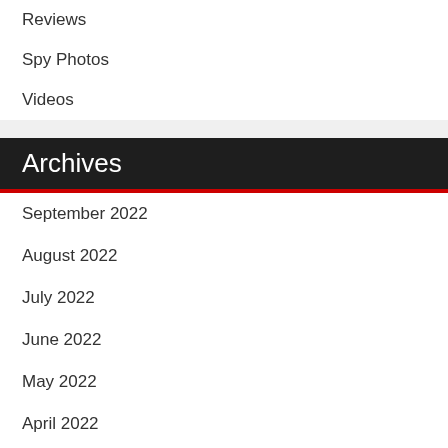Reviews
Spy Photos
Videos
Archives
September 2022
August 2022
July 2022
June 2022
May 2022
April 2022
March 2022